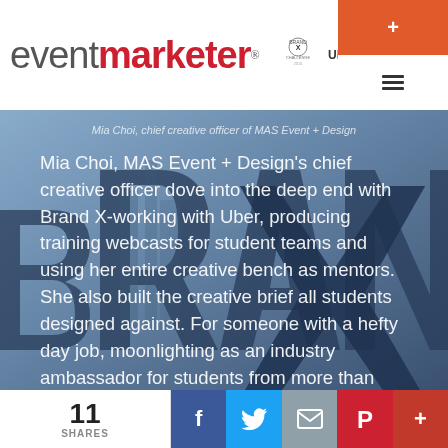[Figure (logo): Event Marketer logo with Brand X Challenge 2016 and Uber branding]
[Figure (photo): Background photo of Brand X large letters with city skyline reflected, blue-tinted]
Mia Choi, chief creative officer of MAS Event + Design
Mia Choi, MAS Event + Design's chief creative officer dove into the deep end with Brand X-working with Uber, producing training webcasts for student teams and using her entire creative bench as mentors. She also built the creative brief all students designed against. For someone with a hefty day job, moonlighting as an industry ambassador for students from more than 100 colleges and universities was, in a word, huge. We caught up with
11 SHARES